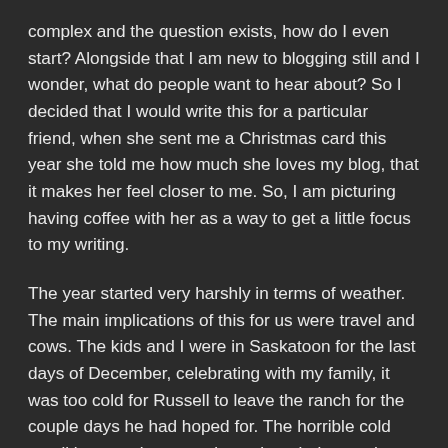complex and the question exists, how do I even start? Alongside that I am new to blogging still and I wonder, what do people want to hear about? So I decided that I would write this for a particular friend, when she sent me a Christmas card this year she told me how much she loves my blog, that it makes her feel closer to me. So, I am picturing having coffee with her as a way to get a little focus to my writing.
The year started very harshly in terms of weather. The main implications of this for us were travel and cows. The kids and I were in Saskatoon for the last days of December, celebrating with my family, it was too cold for Russell to leave the ranch for the couple days he had hoped for. The horrible cold conditions made me anxious about being on the highway but I had the car checked out before we left and then we just did our best and we were fine. This prompted some deep gratitude. It was very